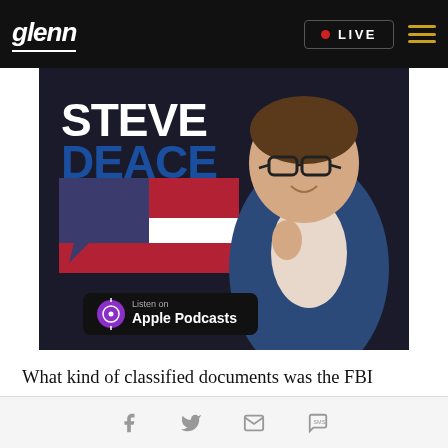glenn | LIVE
[Figure (illustration): Steve Deace podcast promotional image showing a man in a blue blazer with glasses, with large blue text 'STEVE DEACE', American flag design elements, and Apple Podcasts badge]
What kind of classified documents was the FBI looking for when it raided former President Donald Trump's Florida home? Was it nuclear secrets, as the
Social share icons: Facebook, Twitter, Email, SMS